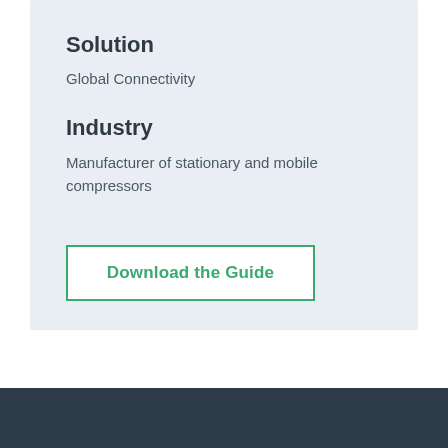Solution
Global Connectivity
Industry
Manufacturer of stationary and mobile compressors
Download the Guide